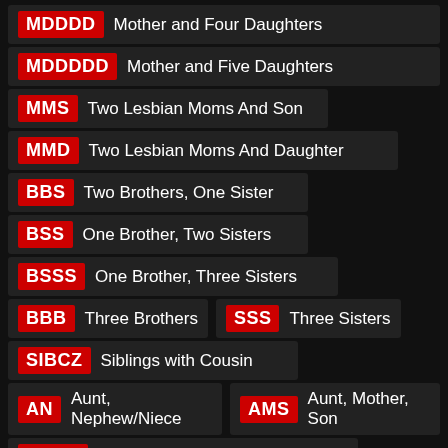MDDDD Mother and Four Daughters
MDDDDD Mother and Five Daughters
MMS Two Lesbian Moms And Son
MMD Two Lesbian Moms And Daughter
BBS Two Brothers, One Sister
BSS One Brother, Two Sisters
BSSS One Brother, Three Sisters
BBB Three Brothers
SSS Three Sisters
SIBCZ Siblings with Cousin
AN Aunt, Nephew/Niece
AMS Aunt, Mother, Son
AMSS Aunt, Mother And Two Sons